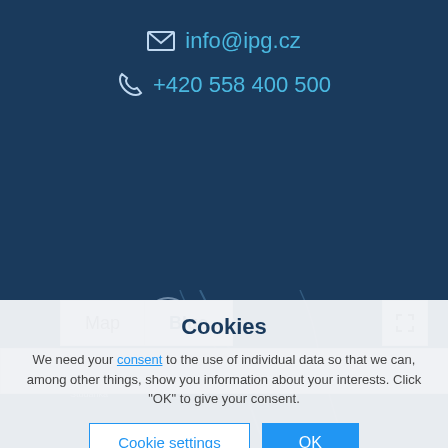info@ipg.cz
+420 558 400 500
[Figure (screenshot): Interactive map showing a region with blue background and place names like Karlova Studánka, Město Albrechtice, Krnov, Kietrz, with Map and Blue toggle buttons and a fullscreen button, and a Show all dropdown]
Cookies
We need your consent to the use of individual data so that we can, among other things, show you information about your interests. Click "OK" to give your consent.
Cookie settings
OK
You can refuse consent here.